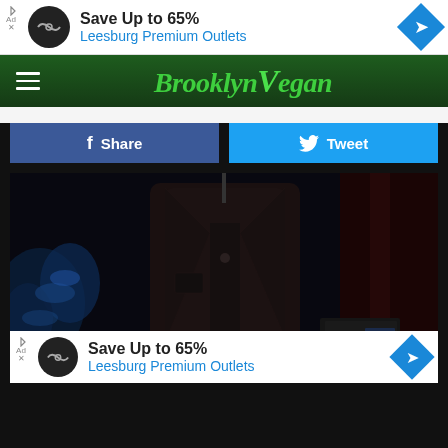[Figure (screenshot): Advertisement banner: Save Up to 65% Leesburg Premium Outlets]
[Figure (logo): BrooklynVegan website logo on dark green navigation bar with hamburger menu]
[Figure (other): Facebook Share button and Twitter Tweet button]
[Figure (photo): Concert/live music dark photo showing performer torso in dark jacket at microphone with stage lights]
[Figure (screenshot): Advertisement banner: Save Up to 65% Leesburg Premium Outlets (bottom)]